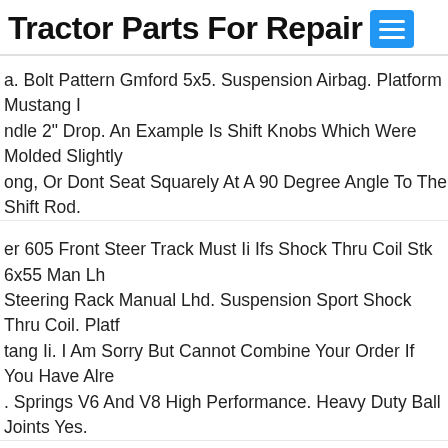Tractor Parts For Repair
a. Bolt Pattern Gmford 5x5. Suspension Airbag. Platform Mustang Ii. ndle 2" Drop. An Example Is Shift Knobs Which Were Molded Slightly ong, Or Dont Seat Squarely At A 90 Degree Angle To The Shift Rod.
er 605 Front Steer Track Must Ii Ifs Shock Thru Coil Stk 6x55 Man Lh Steering Rack Manual Lhd. Suspension Sport Shock Thru Coil. Platf tang Ii. I Am Sorry But Cannot Combine Your Order If You Have Alre . Springs V6 And V8 High Performance. Heavy Duty Ball Joints Yes.
Fairlane Ba Bf Factory Original Front Bumper Bar ☺. Available This k Is A Ford Fairlane Ba Bf Factory Original Front Bumper Bar. For Pa uit Ford Ba Bf Xr6 Xr8 Falcon Fairmont And Fairlane.
0 Ford Mustang Coil-over Mustang Ii Ifs 2" Drop 5x4.75 Manual Lhd t. 64-70 Ford Mustang Mustang Ii Ifs Coil Over 2" Drop 5x4.75 Manu Rack. Steering Rack Manual Lhd. Bolt Pattern Gm 5x4.75. Platform tang Ii. Application 64-70 Ford Mustang. Suspension Sport Coil Ove